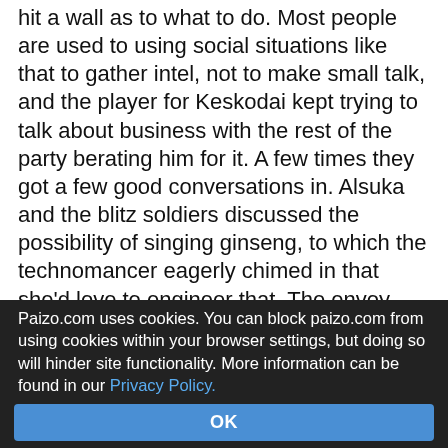hit a wall as to what to do. Most people are used to using social situations like that to gather intel, not to make small talk, and the player for Keskodai kept trying to talk about business with the rest of the party berating him for it. A few times they got a few good conversations in. Alsuka and the blitz soldiers discussed the possibility of singing ginseng, to which the technomancer eagerly chimed in that she'd love to engineer that. The envoy kissed butt and also tried to compliment her business. The armored storm complimented the decor and offered to render her business as a VR simulation so people could see it in the info sphere, which triggered a discussion about the value of business with physical locations and the need to physically go to a place and seeing it for oneself than to experience it via simulation. But then other times, everyone just sat in awkward silence
Paizo.com uses cookies. You can block paizo.com from using cookies within your browser settings, but doing so will hinder site functionality. More information can be found in our Privacy Policy.
OK